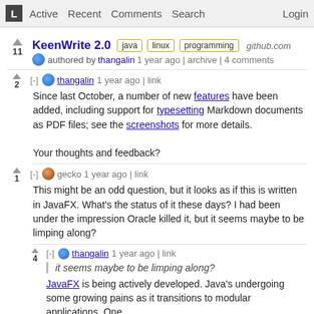L  Active  Recent  Comments  Search  Login
KeenWrite 2.0  java  linux  programming  github.com
authored by thangalin 1 year ago | archive | 4 comments
[-] thangalin 1 year ago | link
Since last October, a number of new features have been added, including support for typesetting Markdown documents as PDF files; see the screenshots for more details.

Your thoughts and feedback?
[-] gecko 1 year ago | link
This might be an odd question, but it looks as if this is written in JavaFX. What's the status of it these days? I had been under the impression Oracle killed it, but it seems maybe to be limping along?
[-] thangalin 1 year ago | link
it seems maybe to be limping along?
JavaFX is being actively developed. Java's undergoing some growing pains as it transitions to modular applications. One